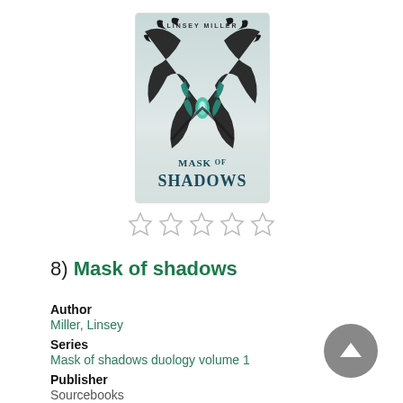[Figure (illustration): Book cover of 'Mask of Shadows' by Linsey Miller. Shows two large dark dragon/bird-like creatures with teal accents forming a mirror image symmetry. Title text 'MASK OF SHADOWS' at the bottom in dark teal. Author name 'LINSEY MILLER' at the top.]
[Figure (other): Five empty (unfilled) star rating icons in a row indicating no rating given.]
8)  Mask of shadows
Author
Miller, Linsey
Series
Mask of shadows duology volume 1
Publisher
Sourcebooks
Pub. Date
2017
Language
English